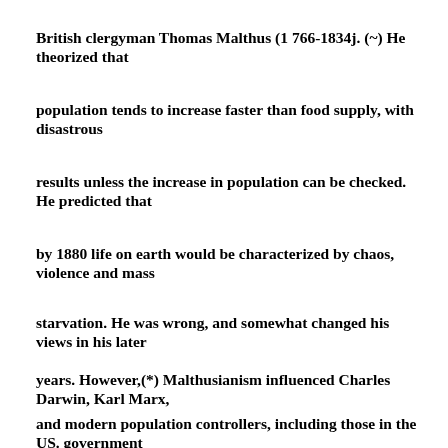British clergyman Thomas Malthus (1 766-1834j. (~) He theorized that population tends to increase faster than food supply, with disastrous results unless the increase in population can be checked. He predicted that by 1880 life on earth would be characterized by chaos, violence and mass starvation. He was wrong, and somewhat changed his views in his later years. However,(*) Malthusianism influenced Charles Darwin, Karl Marx, and modern population controllers, including those in the US. government today.
The facts are that per capita food. Output between 1950 and 1977